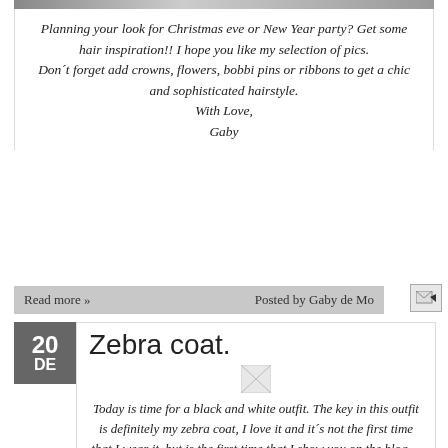[Figure (photo): Partial image strip at the top of the page, cropped]
Planning your look for Christmas eve or New Year party? Get some hair inspiration!! I hope you like my selection of pics. Don´t forget add crowns, flowers, bobbi pins or ribbons to get a chic and sophisticated hairstyle. With Love, Gaby
Read more »
Posted by Gaby de Mo
[Figure (illustration): Email icon button]
20
DE
Zebra coat.
[Figure (photo): Small thumbnail image placeholder]
Today is time for a black and white outfit. The key in this outfit is definitely my zebra coat, I love it and it´s not the first time that I wear it, but is the first time that I show you on the blog.... Lately I love wearing  jackets or coats on